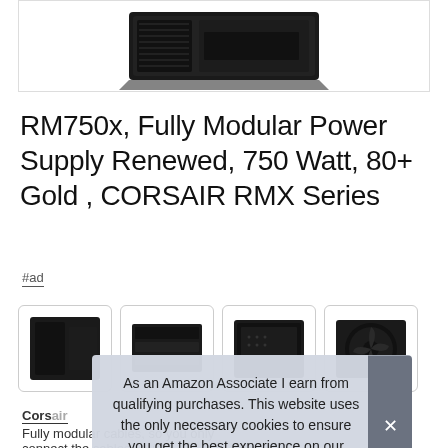[Figure (photo): Product photo of Corsair RM750x power supply unit, black, shown from above/angle against white background]
RM750x, Fully Modular Power Supply Renewed, 750 Watt, 80+ Gold , CORSAIR RMX Series
#ad
[Figure (photo): Four thumbnail images of the Corsair RM750x power supply from different angles]
Corsair
Fully modular cables, so you only connect the cables your
As an Amazon Associate I earn from qualifying purchases. This website uses the only necessary cookies to ensure you get the best experience on our website. More information